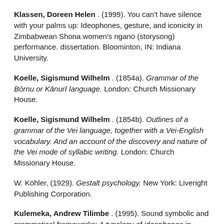Klassen, Doreen Helen . (1999).  You can't have silence with your palms up: Ideophones, gesture, and iconicity in Zimbabwean Shona women's ngano (storysong) performance. dissertation. Bloominton, IN: Indiana University.
Koelle, Sigismund Wilhelm . (1854a).  Grammar of the Bórnu or Kānurī language. London: Church Missionary House.
Koelle, Sigismund Wilhelm . (1854b).  Outlines of a grammar of the Vei language, together with a Vei-English vocabulary. And an account of the discovery and nature of the Vei mode of syllabic writing. London: Church Missionary House.
W. Köhler, (1929).  Gestalt psychology. New York: Liveright Publishing Corporation.
Kulemeka, Andrew Tilimbe . (1995).  Sound symbolic and grammatical frameworks: A typology of ideophones in Asian and African languages.  South African Journal of